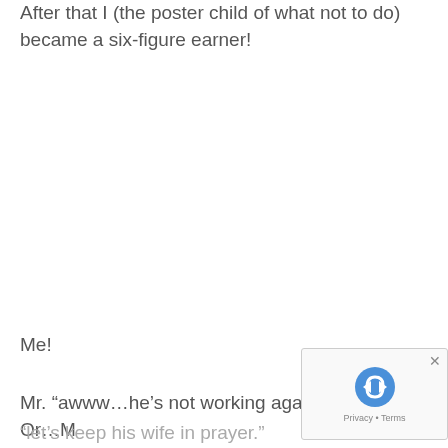After that I (the poster child of what not to do) became a six-figure earner!
Me!
Mr. “awww…he’s not working again?!” Or…M
“let’s keep his wife in prayer.”